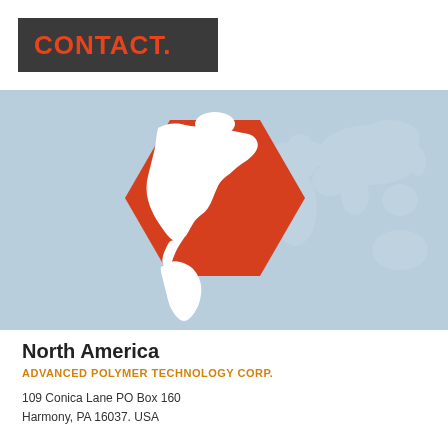CONTACT.
[Figure (illustration): Light blue panel showing a red hexagon with white Americas map silhouette overlaid, and a light grey-white world map silhouette in the background to the right]
North America
ADVANCED POLYMER TECHNOLOGY CORP.
109 Conica Lane PO Box 160
Harmony, PA 16037. USA